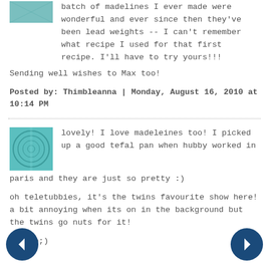batch of madelines I ever made were wonderful and ever since then they've been lead weights -- I can't remember what recipe I used for that first recipe. I'll have to try yours!!!
Sending well wishes to Max too!
Posted by: Thimbleanna | Monday, August 16, 2010 at 10:14 PM
[Figure (photo): Teal/turquoise avatar thumbnail image]
lovely! I love madeleines too! I picked up a good tefal pan when hubby worked in paris and they are just so pretty :)
oh teletubbies, it's the twins favourite show here! a bit annoying when its on in the background but the twins go nuts for it!
Corrie;)